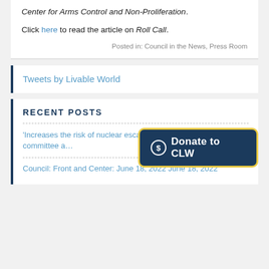Center for Arms Control and Non-Proliferation.
Click here to read the article on Roll Call.
Posted in: Council in the News, Press Room
Tweets by Livable World
RECENT POSTS
'Increases the risk of nuclear escalation': statement on the NDAA committee a…
Council: Front and Center: June 18, 2022 June 18, 2022
Donate to CLW